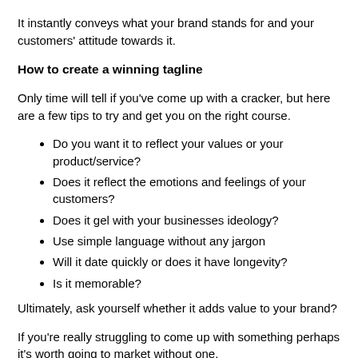It instantly conveys what your brand stands for and your customers' attitude towards it.
How to create a winning tagline
Only time will tell if you've come up with a cracker, but here are a few tips to try and get you on the right course.
Do you want it to reflect your values or your product/service?
Does it reflect the emotions and feelings of your customers?
Does it gel with your businesses ideology?
Use simple language without any jargon
Will it date quickly or does it have longevity?
Is it memorable?
Ultimately, ask yourself whether it adds value to your brand?
If you're really struggling to come up with something perhaps it's worth going to market without one.
In time, as your business grows and you understand it better (and your customers), you can always do a mini rebrand exercise and introduce